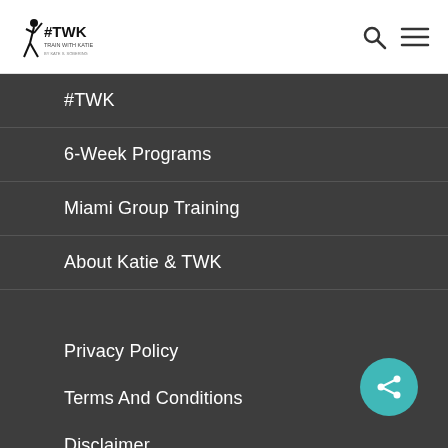[Figure (logo): #TWK Train With Katie logo with silhouette figure]
[Figure (other): Search icon and hamburger menu icon in header]
#TWK
6-Week Programs
Miami Group Training
About Katie & TWK
Privacy Policy
Terms And Conditions
Disclaimer
Refund Policy
Contact Us